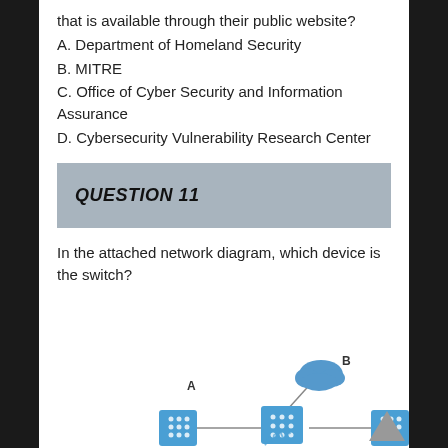that is available through their public website?
A. Department of Homeland Security
B. MITRE
C. Office of Cyber Security and Information Assurance
D. Cybersecurity Vulnerability Research Center
QUESTION 11
In the attached network diagram, which device is the switch?
[Figure (network-graph): Partial network diagram showing labeled devices A (server/switch icon, bottom left) and B (cloud icon, upper right), connected by lines to a central device. Additional blue device visible at far right edge.]